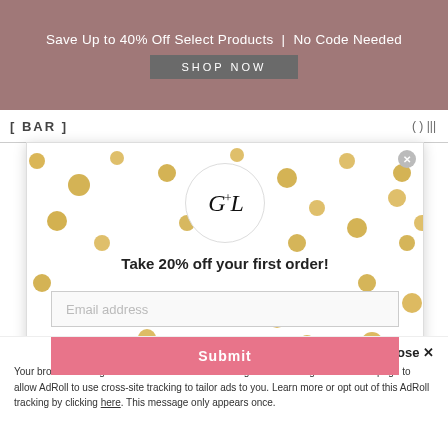Save Up to 40% Off Select Products | No Code Needed
SHOP NOW
[Figure (screenshot): Website navigation bar with logo placeholder text and icons on the right]
[Figure (infographic): Email signup modal popup with gold polka dot background, G+L brand logo in circle, offer text 'Take 20% off your first order!', email address input field, and pink Submit button. Close button in top right corner.]
Take 20% off your first order!
Email address
Submit
Accept and Close ✕
Your browser settings do not allow cross-site tracking for advertising. Click on this page to allow AdRoll to use cross-site tracking to tailor ads to you. Learn more or opt out of this AdRoll tracking by clicking here. This message only appears once.